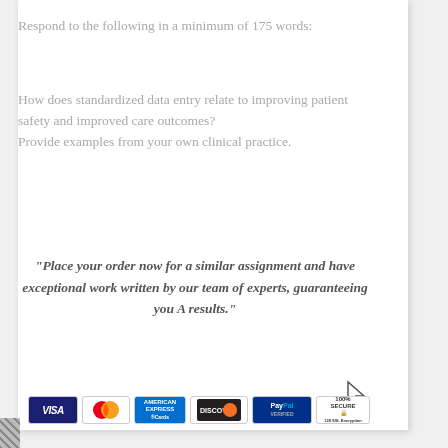Respond to the following in a minimum of 175 words:
How does standardized data entry relate to improving patient safety and improved care outcomes?
Provide examples from your own clinical practice.
"Place your order now for a similar assignment and have exceptional work written by our team of experts, guaranteeing you A results."
[Figure (other): Orange 'Order Now!' button with cursor icon and payment method icons below (Visa, MasterCard, Amex, Discover, PayPal, 100% Secure)]